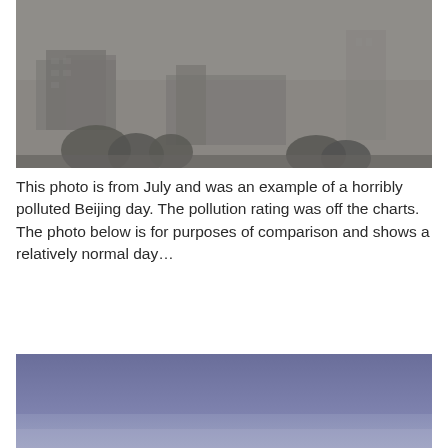[Figure (photo): A heavily smog-filled view of Beijing city buildings. The sky and buildings are barely visible through thick grey-brown haze and pollution. Trees are visible in the lower portion of the image.]
This photo is from July and was an example of a horribly polluted Beijing day. The pollution rating was off the charts. The photo below is for purposes of comparison and shows a relatively normal day…
[Figure (photo): A photo showing a relatively normal Beijing day with a clear blue-purple sky gradient, much less pollution visible compared to the top photo.]